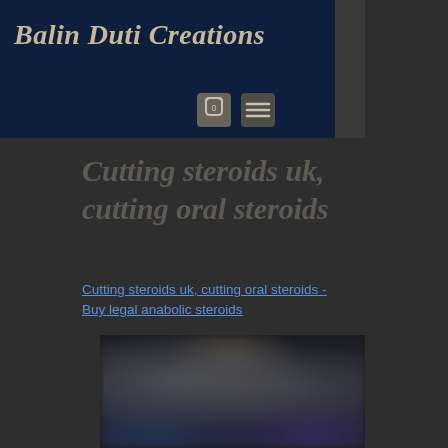Balin Duti Creations
Cutting steroids uk, cutting oral steroids
Cutting steroids uk, cutting oral steroids - Buy legal anabolic steroids
[Figure (photo): Blurred dark image showing indistinct figures, partially cropped at page bottom]